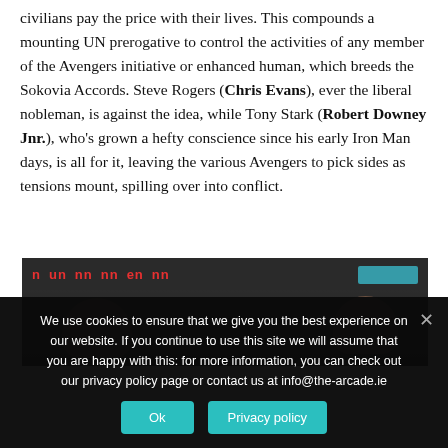civilians pay the price with their lives. This compounds a mounting UN prerogative to control the activities of any member of the Avengers initiative or enhanced human, which breeds the Sokovia Accords. Steve Rogers (Chris Evans), ever the liberal nobleman, is against the idea, while Tony Stark (Robert Downey Jnr.), who's grown a hefty conscience since his early Iron Man days, is all for it, leaving the various Avengers to pick sides as tensions mount, spilling over into conflict.
[Figure (photo): A dark cinematic scene showing two figures from behind, seated, facing a scoreboard/display panel with red LED-style text. A teal/blue screen element is visible in the upper right.]
We use cookies to ensure that we give you the best experience on our website. If you continue to use this site we will assume that you are happy with this: for more information, you can check out our privacy policy page or contact us at info@the-arcade.ie